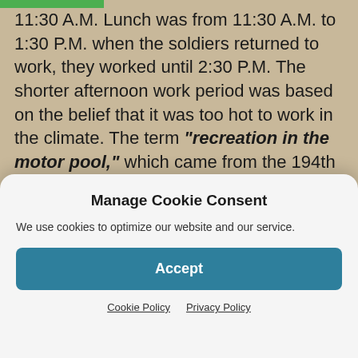11:30 A.M. Lunch was from 11:30 A.M. to 1:30 P.M. when the soldiers returned to work, they worked until 2:30 P.M. The shorter afternoon work period was based on the belief that it was too hot to work in the climate. The term "recreation in the motor pool," which came from the 194th Tank Battalion, meant they actually worked until 4:30 in the afternoon.

At Ft. Stotsenburg, the soldiers were expected to wear their dress uniforms. Since working on the tanks was a dirty job, the battalion members wore coveralls to do the
Manage Cookie Consent
We use cookies to optimize our website and our service.
Accept
Cookie Policy   Privacy Policy